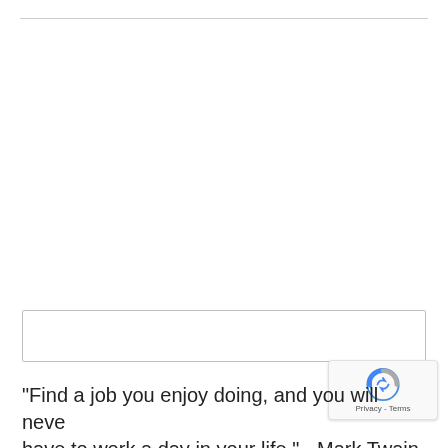[Figure (other): Horizontal rule / top page divider line]
[Figure (other): Empty rectangular input/search box with light gray border]
[Figure (other): reCAPTCHA badge with spinning arrow icon and Privacy - Terms label]
“Find a job you enjoy doing, and you will neve… have to work a day in your life.” - Mark Twain